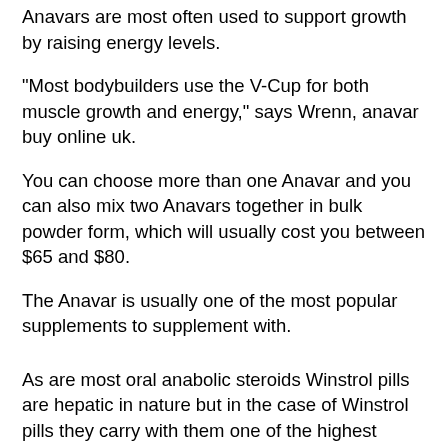Anavars are most often used to support growth by raising energy levels.
"Most bodybuilders use the V-Cup for both muscle growth and energy," says Wrenn, anavar buy online uk.
You can choose more than one Anavar and you can also mix two Anavars together in bulk powder form, which will usually cost you between $65 and $80.
The Anavar is usually one of the most popular supplements to supplement with.
As are most oral anabolic steroids Winstrol pills are hepatic in nature but in the case of Winstrol pills they carry with them one of the highest hepatic ratings of allorally anabolic steroids I've seen. They are also one of the less expensive and